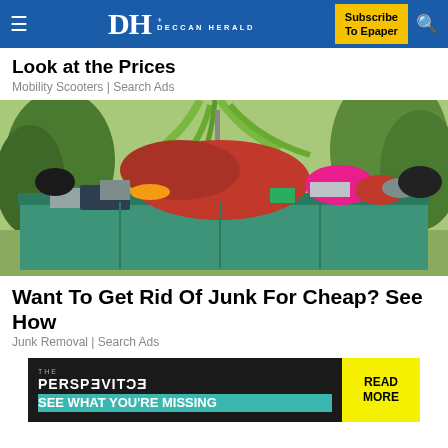DH DECCAN HERALD — Subscribe To Epaper
Look at the Prices
Mobility Scooters | Search Ads
[Figure (photo): A large green dumpster overflowing with junk including red fabric, clothing, household items, and bags, surrounded by palm trees and greenery in the background.]
Want To Get Rid Of Junk For Cheap? See How
Junk Removal | Search Ads
[Figure (infographic): Advertisement banner for 'The Perspective' with teal and dark background, text 'SEE WHAT YOU'RE MISSING' and yellow 'READ MORE' button.]